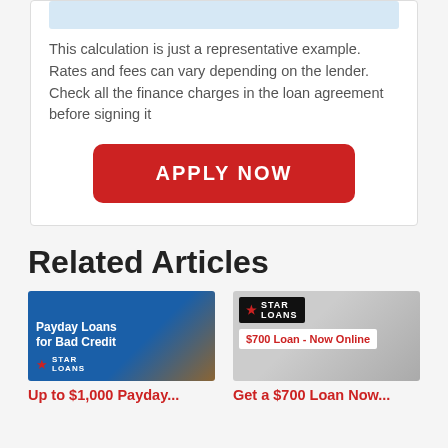This calculation is just a representative example. Rates and fees can vary depending on the lender. Check all the finance charges in the loan agreement before signing it
[Figure (other): Red rounded button with white text reading APPLY NOW]
Related Articles
[Figure (illustration): Article thumbnail showing South Park characters with text Payday Loans for Bad Credit and Star Loans logo]
Up to $1,000 Payday...
[Figure (illustration): Article thumbnail showing Star Loans logo badge and $700 Loan - Now Online label over a hand holding cash]
Get a $700 Loan Now...